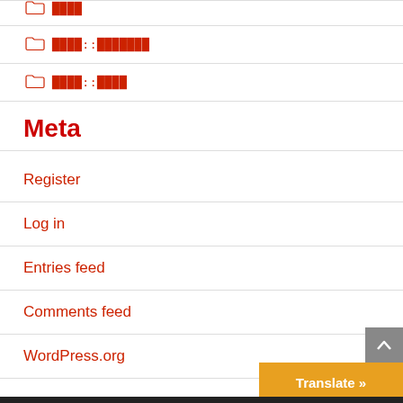████::███████
████::████
Meta
Register
Log in
Entries feed
Comments feed
WordPress.org